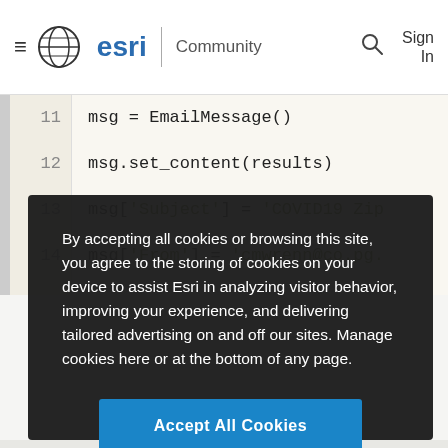[Figure (screenshot): Esri Community website navigation bar with hamburger menu, Esri globe logo, esri text, Community label, search icon, and Sign In link]
[Figure (screenshot): Code editor showing Python code lines 11-14: msg = EmailMessage(), msg.set_content(results), msg['Subject'] = 'COVID19 Zip..., msg['From'] = 'cmwrenn@co.pg.']
By accepting all cookies or browsing this site, you agree to the storing of cookies on your device to assist Esri in analyzing visitor behavior, improving your experience, and delivering tailored advertising on and off our sites. Manage cookies here or at the bottom of any page.
Accept All Cookies
Cookies Settings